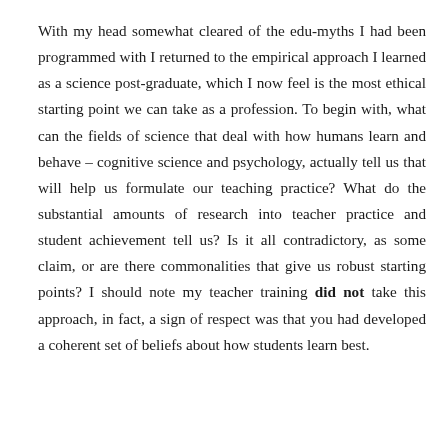With my head somewhat cleared of the edu-myths I had been programmed with I returned to the empirical approach I learned as a science post-graduate, which I now feel is the most ethical starting point we can take as a profession. To begin with, what can the fields of science that deal with how humans learn and behave – cognitive science and psychology, actually tell us that will help us formulate our teaching practice? What do the substantial amounts of research into teacher practice and student achievement tell us? Is it all contradictory, as some claim, or are there commonalities that give us robust starting points? I should note my teacher training did not take this approach, in fact, a sign of respect was that you had developed a coherent set of beliefs about how students learn best.